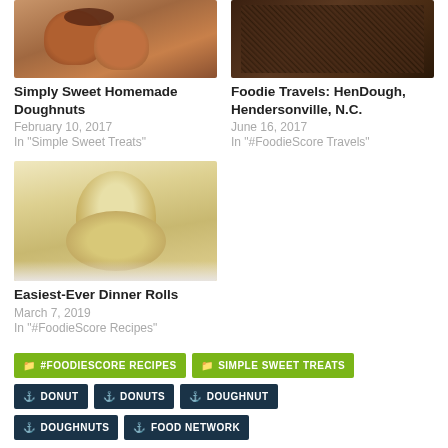[Figure (photo): Homemade doughnuts with chocolate frosting on top]
Simply Sweet Homemade Doughnuts
February 10, 2017
In "Simple Sweet Treats"
[Figure (photo): Dark chocolate covered food item on white background]
Foodie Travels: HenDough, Hendersonville, N.C.
June 16, 2017
In "#FoodieScore Travels"
[Figure (photo): A round dinner roll on a white plate]
Easiest-Ever Dinner Rolls
March 7, 2019
In "#FoodieScore Recipes"
#FOODIESCORE RECIPES
SIMPLE SWEET TREATS
DONUT
DONUTS
DOUGHNUT
DOUGHNUTS
FOOD NETWORK